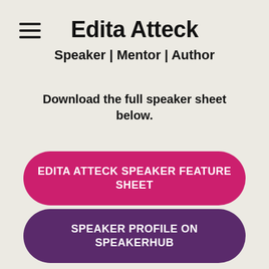Edita Atteck
Speaker | Mentor | Author
Download the full speaker sheet below.
EDITA ATTECK SPEAKER FEATURE SHEET
SPEAKER PROFILE ON SPEAKERHUB